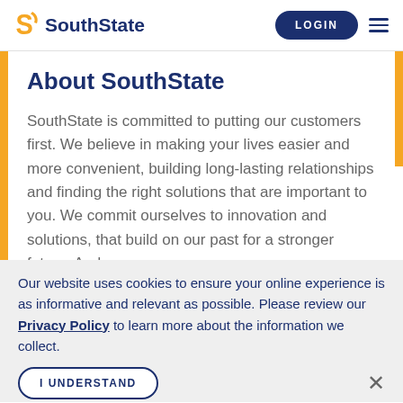[Figure (logo): SouthState bank logo with orange S icon and dark navy 'SouthState' wordmark]
About SouthState
SouthState is committed to putting our customers first. We believe in making your lives easier and more convenient, building long-lasting relationships and finding the right solutions that are important to you. We commit ourselves to innovation and solutions, that build on our past for a stronger future. And,
Our website uses cookies to ensure your online experience is as informative and relevant as possible. Please review our Privacy Policy to learn more about the information we collect.